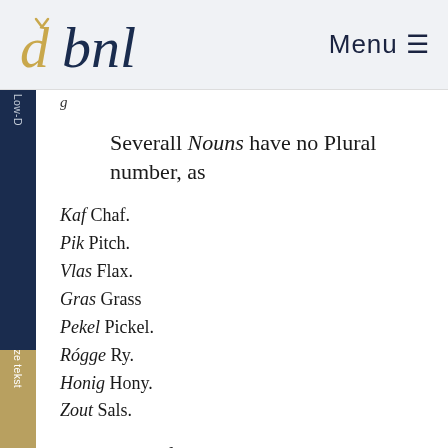dbnl | Menu
g...
Severall Nouns have no Plural number, as
Kaf Chaf.
Pik Pitch.
Vlas Flax.
Gras Grass
Pekel Pickel.
Rógge Ry.
Honig Hony.
Zout Sals.
Some few Nouns want the Singular number, as
Hersenen Brains.